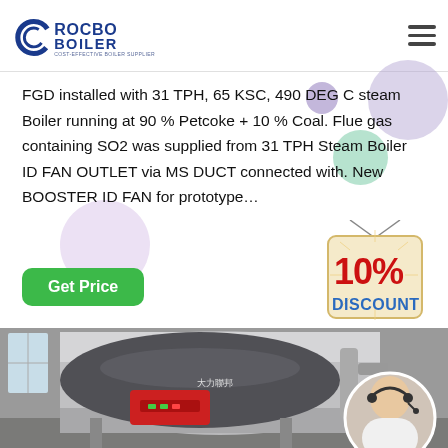[Figure (logo): ROCBO BOILER logo with text 'COST-EFFECTIVE BOILER SUPPLIER' and circular C-shaped graphic]
FGD installed with 31 TPH, 65 KSC, 490 DEG C steam Boiler running at 90 % Petcoke + 10 % Coal. Flue gas containing SO2 was supplied from 31 TPH Steam Boiler ID FAN OUTLET via MS DUCT connected with. New BOOSTER ID FAN for prototype…
[Figure (other): Green 'Get Price' button]
[Figure (other): 10% DISCOUNT badge/sticker in red and blue on cream background with hanging string]
[Figure (photo): Industrial boiler in warehouse facility, showing large cylindrical boiler with red burner unit and control panel, pipes visible, with overlaid customer service representative in circular inset]